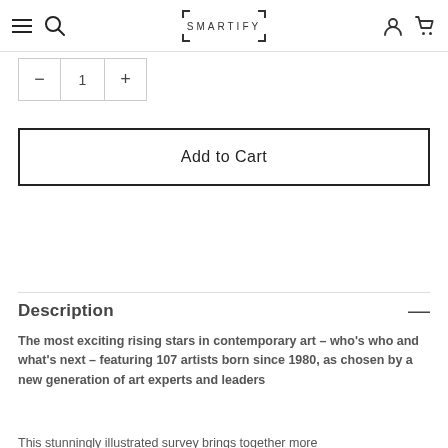SMARTIFY
1
Add to Cart
Description
The most exciting rising stars in contemporary art – who's who and what's next – featuring 107 artists born since 1980, as chosen by a new generation of art experts and leaders
This stunningly illustrated survey brings together more